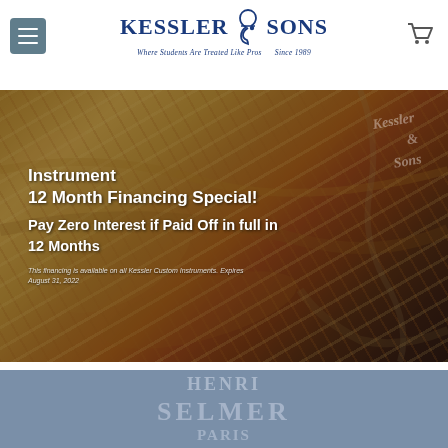[Figure (logo): Kessler and Sons music store logo with treble clef. Text reads 'KESSLER & SONS — Where Students Are Treated Like Pros — Since 1989']
[Figure (photo): Close-up photo of brass musical instruments (saxophones/trumpets) in warm golden tones, overlaid with promotional text about a 12 Month Financing Special and watermark of Kessler branding]
Instrument 12 Month Financing Special!
Pay Zero Interest if Paid Off in full in 12 Months
This financing is available on all Kessler Custom Instruments. Expires August 31, 2022
[Figure (photo): Blue-grey banner section with faint text reading HENRI SELMER PARIS in watermark style]